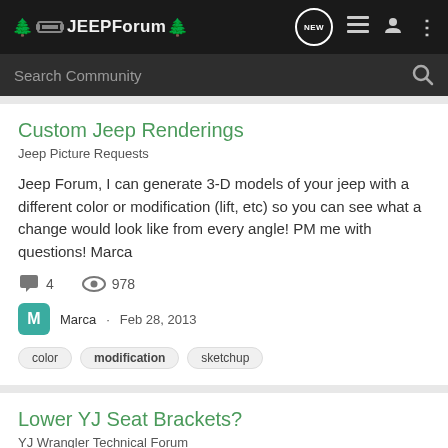JEEPForum
Search Community
Custom Jeep Renderings
Jeep Picture Requests
Jeep Forum, I can generate 3-D models of your jeep with a different color or modification (lift, etc) so you can see what a change would look like from every angle! PM me with questions! Marca
4 comments · 978 views · Marca · Feb 28, 2013
color | modification | sketchup
Lower YJ Seat Brackets?
YJ Wrangler Technical Forum
I got some practically new seats from a friend and tried to